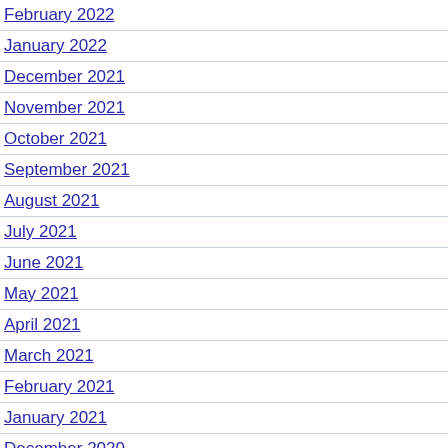February 2022
January 2022
December 2021
November 2021
October 2021
September 2021
August 2021
July 2021
June 2021
May 2021
April 2021
March 2021
February 2021
January 2021
December 2020
Latest Qualification Jobs